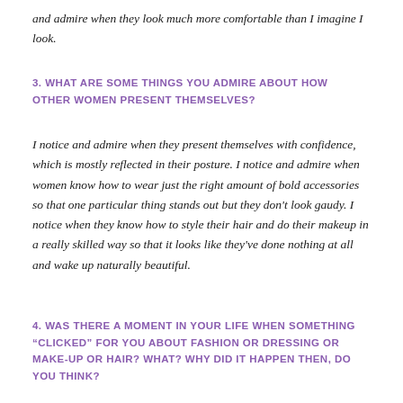and admire when they look much more comfortable than I imagine I look.
3. WHAT ARE SOME THINGS YOU ADMIRE ABOUT HOW OTHER WOMEN PRESENT THEMSELVES?
I notice and admire when they present themselves with confidence, which is mostly reflected in their posture. I notice and admire when women know how to wear just the right amount of bold accessories so that one particular thing stands out but they don't look gaudy. I notice when they know how to style their hair and do their makeup in a really skilled way so that it looks like they've done nothing at all and wake up naturally beautiful.
4. WAS THERE A MOMENT IN YOUR LIFE WHEN SOMETHING “CLICKED” FOR YOU ABOUT FASHION OR DRESSING OR MAKE-UP OR HAIR? WHAT? WHY DID IT HAPPEN THEN, DO YOU THINK?